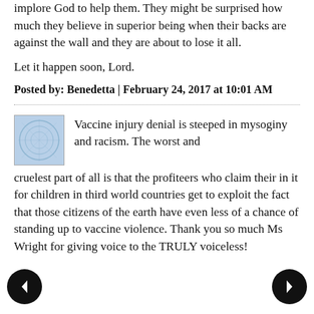implore God to help them. They might be surprised how much they believe in superior being when their backs are against the wall and they are about to lose it all.
Let it happen soon, Lord.
Posted by: Benedetta | February 24, 2017 at 10:01 AM
Vaccine injury denial is steeped in mysoginy and racism. The worst and cruelest part of all is that the profiteers who claim their in it for children in third world countries get to exploit the fact that those citizens of the earth have even less of a chance of standing up to vaccine violence. Thank you so much Ms Wright for giving voice to the TRULY voiceless!